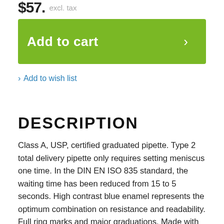$57. excl. tax
Add to cart ›
› Add to wish list
DESCRIPTION
Class A, USP, certified graduated pipette. Type 2 total delivery pipette only requires setting meniscus one time. In the DIN EN ISO 835 standard, the waiting time has been reduced from 15 to 5 seconds. High contrast blue enamel represents the optimum combination on resistance and readability. Full ring marks and major graduations. Made with BRAND's flexible screen stencils which ensures the volume markings match the calibration marks for enhanced accuracy at all intermediate volumes. Available in all ISO